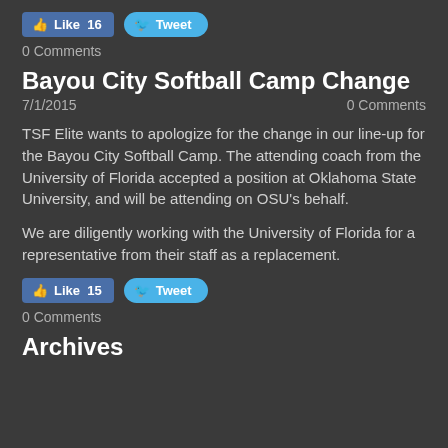[Figure (other): Facebook Like button (16 likes) and Twitter Tweet button]
0 Comments
Bayou City Softball Camp Change
7/1/2015    0 Comments
TSF Elite wants to apologize for the change in our line-up for the Bayou City Softball Camp.  The attending coach from the University of Florida accepted a position at Oklahoma State University, and will be attending on OSU's behalf.
We are diligently working with the University of Florida for a representative from their staff as a replacement.
[Figure (other): Facebook Like button (15 likes) and Twitter Tweet button]
0 Comments
Archives